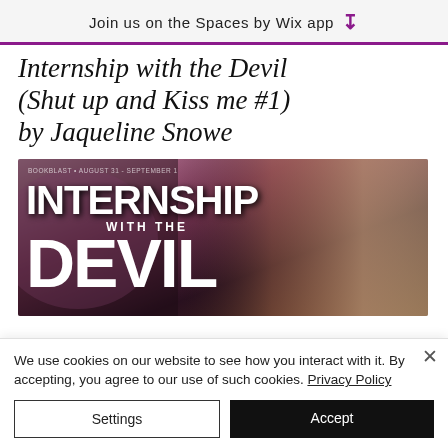Join us on the Spaces by Wix app ↓
Internship with the Devil (Shut up and Kiss me #1) by Jaqueline Snowe
[Figure (photo): Book cover for 'Internship with the Devil' showing a couple about to kiss, with bold title text overlay. Text reads: INTERNSHIP WITH THE DEVIL. Also shows: BOOKBLAST • AUGUST 31 - SEPTEMBER 1, ENDLESS FISH PROMOTIONS]
We use cookies on our website to see how you interact with it. By accepting, you agree to our use of such cookies. Privacy Policy
Settings
Accept